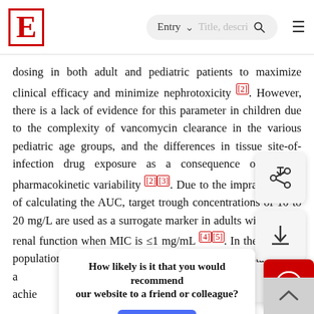E | Entry ~ Title, descri... [search] [menu]
dosing in both adult and pediatric patients to maximize clinical efficacy and minimize nephrotoxicity [2]. However, there is a lack of evidence for this parameter in children due to the complexity of vancomycin clearance in the various pediatric age groups, and the differences in tissue site-of-infection drug exposure as a consequence of greater pharmacokinetic variability [2][3]. Due to the impracticalities of calculating the AUC, target trough concentrations of 10 to 20 mg/L are used as a surrogate marker in adults with normal renal function when MIC is ≤1 mg/mL [4][5]. In the pediatric population, there is more controversy in establishing a majority of studies suggest – mg/L to achieve consensus has been reached